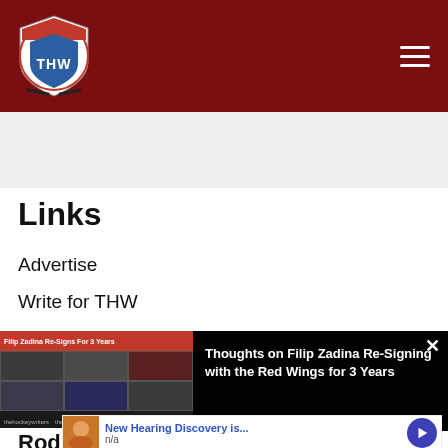[Figure (logo): The Hockey Writers (THW) shield logo in dark red header with hamburger menu icon]
Links
Advertise
Write for THW
[Figure (screenshot): Video popup showing Filip Zadina Re-Signs for 3 Years on The Hockey Writers panel discussion with text: Thoughts on Filip Zadina Re-Signing with the Red Wings for 3 Years]
Rod Pedas
[Figure (other): Bottom advertisement: New Hearing Discovery is... n/a with image and play button]